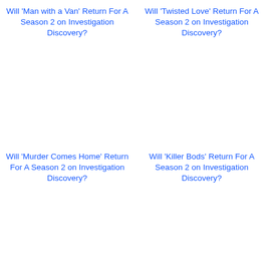Will 'Man with a Van' Return For A Season 2 on Investigation Discovery?
Will 'Twisted Love' Return For A Season 2 on Investigation Discovery?
Will 'Murder Comes Home' Return For A Season 2 on Investigation Discovery?
Will 'Killer Bods' Return For A Season 2 on Investigation Discovery?